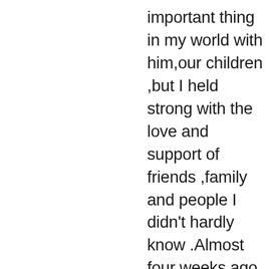important thing in my world with him,our children ,but I held strong with the love and support of friends ,family and people I didn't hardly know .Almost four weeks ago ,he took several painkillers in what I believe was his final attempt to get my attention.He was prounced brain dead on Feb. 12,2008 at the age of 45 leaving behind two young children and a slew of people who had tried to help him all his life.He had gone to therapists ,tried medication,been loved to the point of almost total destruction.the only person that can help a BPD is themselves,like